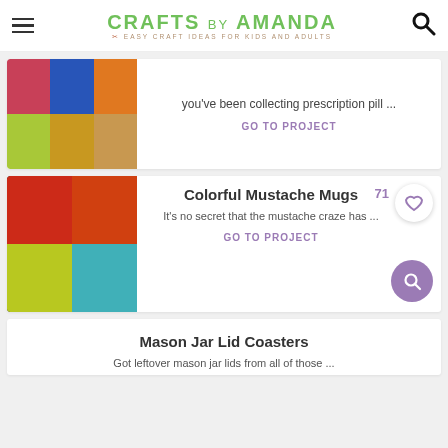CRAFTS BY AMANDA — EASY CRAFT IDEAS FOR KIDS AND ADULTS
[Figure (photo): Grid of craft images related to prescription pill bottles repurposed as crafts]
you've been collecting prescription pill ...
GO TO PROJECT
Colorful Mustache Mugs
[Figure (photo): Colorful mugs with mustache designs stacked together — red, orange, lime green, teal, yellow]
It's no secret that the mustache craze has ...
GO TO PROJECT
Mason Jar Lid Coasters
Got leftover mason jar lids from all of those ...